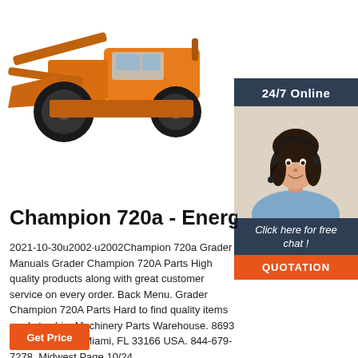[Figure (photo): Yellow front-loader/wheel loader construction machine on white background]
[Figure (photo): 24/7 Online chat panel with dark blue header, female customer service agent wearing headset, 'Click here for free chat!' text, and orange QUOTATION button]
Champion 720a - Energiworld
2021-10-30u2002·u2002Champion 720a Grader Manuals Grader Champion 720A Parts High quality products along with great customer service on every order. Back Menu. Grader Champion 720A Parts Hard to find quality items ready to ship. Machinery Parts Warehouse. 8693 NW 70th Street Miami, FL 33166 USA. 844-679-7278. Midwest Page 10/24
[Figure (other): Orange 'Get Price' button at bottom left]